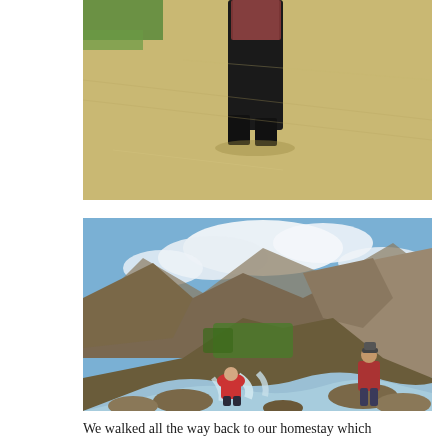[Figure (photo): Close-up photo of a person standing on a large pile of golden grain/straw husks, wearing dark pants and boots, with green grass visible in the upper left corner.]
[Figure (photo): Landscape photo of two travelers posing beside a rushing mountain river with cascading white water rapids. A woman in a red top crouches on rocks on the left, a man in a red shirt stands on rocks on the right. Dramatic rocky mountain peaks and blue sky with clouds fill the background.]
We walked all the way back to our homestay which